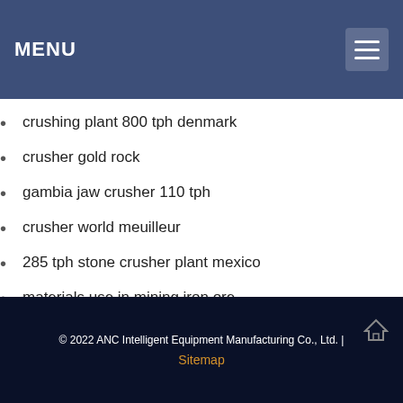MENU
crushing plant 800 tph denmark
crusher gold rock
gambia jaw crusher 110 tph
crusher world meuilleur
285 tph stone crusher plant mexico
materials use in mining iron ore
the process of producing stoneized asphalt
crusher spares lenox
© 2022 ANC Intelligent Equipment Manufacturing Co., Ltd. | Sitemap